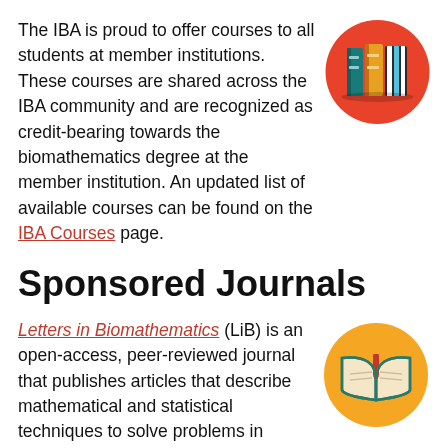The IBA is proud to offer courses to all students at member institutions. These courses are shared across the IBA community and are recognized as credit-bearing towards the biomathematics degree at the member institution. An updated list of available courses can be found on the IBA Courses page.
[Figure (illustration): Icon of three books standing upright on an orange/red circular background]
Sponsored Journals
Letters in Biomathematics (LiB) is an open-access, peer-reviewed journal that publishes articles that describe mathematical and statistical techniques to solve problems in biological settings or that address
[Figure (illustration): Icon of an open book on a yellow/gold circular background]